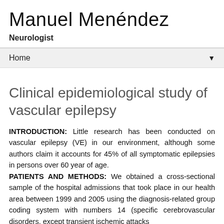Manuel Menéndez
Neurologist
Home ▼
Clinical epidemiological study of vascular epilepsy
INTRODUCTION: Little research has been conducted on vascular epilepsy (VE) in our environment, although some authors claim it accounts for 45% of all symptomatic epilepsies in persons over 60 year of age.
PATIENTS AND METHODS: We obtained a cross-sectional sample of the hospital admissions that took place in our health area between 1999 and 2005 using the diagnosis-related group coding system with numbers 14 (specific cerebrovascular disorders, except transient ischemic attacks